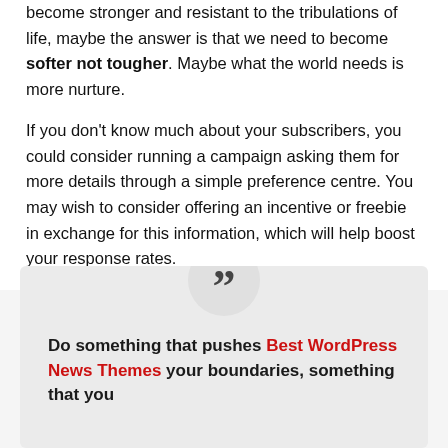become stronger and resistant to the tribulations of life, maybe the answer is that we need to become softer not tougher. Maybe what the world needs is more nurture.
If you don't know much about your subscribers, you could consider running a campaign asking them for more details through a simple preference centre. You may wish to consider offering an incentive or freebie in exchange for this information, which will help boost your response rates.
[Figure (other): Quote block with large quotation mark icon in a circle above, and bold text reading: Do something that pushes Best WordPress News Themes your boundaries, something that you — with 'Best WordPress News Themes' in red.]